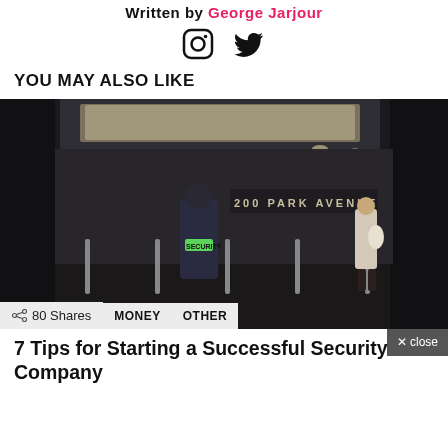Written by George Jarjour
[Figure (illustration): Social media icons: Instagram and Twitter]
YOU MAY ALSO LIKE
[Figure (photo): Security guard in a building lobby, with 200 Park Avenue sign, and a woman in background. Shows 80 Shares, MONEY, OTHER tags.]
7 Tips for Starting a Successful Security Company